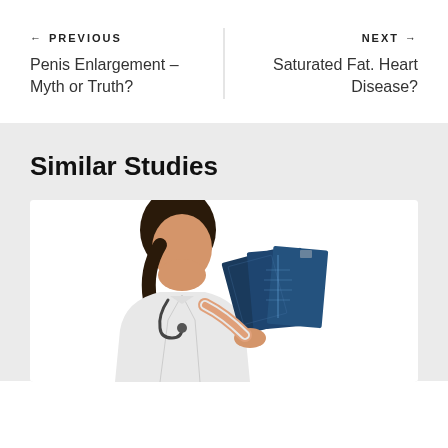← PREVIOUS
Penis Enlargement – Myth or Truth?
NEXT →
Saturated Fat. Heart Disease?
Similar Studies
[Figure (photo): A female doctor in a white coat with stethoscope examining X-ray films]